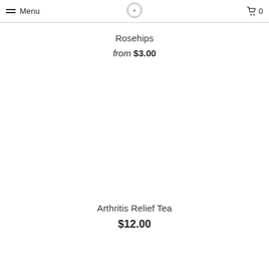Menu | [logo] | 0
Rosehips
from $3.00
Arthritis Relief Tea
$12.00